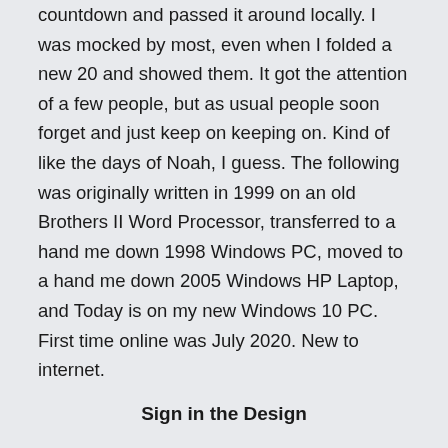countdown and passed it around locally. I was mocked by most, even when I folded a new 20 and showed them. It got the attention of a few people, but as usual people soon forget and just keep on keeping on. Kind of like the days of Noah, I guess. The following was originally written in 1999 on an old Brothers II Word Processor, transferred to a hand me down 1998 Windows PC, moved to a hand me down 2005 Windows HP Laptop, and Today is on my new Windows 10 PC. First time online was July 2020. New to internet.
Sign in the Design
As we draw closer to the last days, God will give us warning signs. We are to be watchful of the world around us. The prophecies of the Bible will be fulfilled! Just as the prophecies fall on death ears so will the warning signs. (Ps. 74:4-10) Those who bring them to light will be dismissed as fools with wild imaginations or insensitive